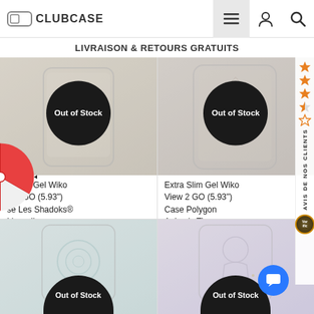CLUBCASE - Navigation header with logo, menu, account and search icons
LIVRAISON & RETOURS GRATUITS
[Figure (screenshot): Product card: Extra Slim Gel Wiko View 2 GO (5.93") Case Les Shadoks® L'escalier - Out of Stock badge]
[Figure (screenshot): Product card: Extra Slim Gel Wiko View 2 GO (5.93") Case Polygon Animals Tiger - Out of Stock badge]
Extra Slim Gel Wiko View 2 GO (5.93") Case Polygon Animals Tiger
[Figure (screenshot): Spinning wheel game overlay on left side]
[Figure (screenshot): AVIS DE NOS CLIENTS sidebar with star rating (3.5 stars approx) and Verific badge]
[Figure (screenshot): Product card bottom row left: phone case with circular design - Out of Stock]
[Figure (screenshot): Product card bottom row right: phone case with character design - Out of Stock]